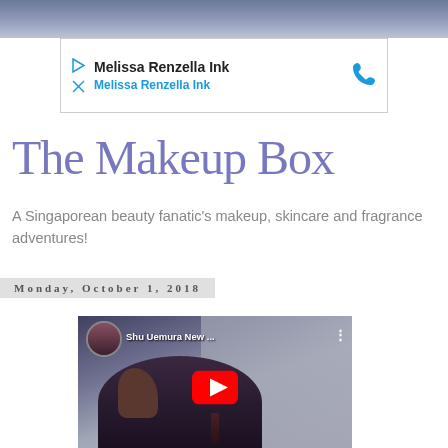[Figure (screenshot): Top header banner with purple/grey sky gradient]
[Figure (screenshot): Advertisement box for Melissa Renzella Ink with play/close icons and phone icon]
The Makeup Box
A Singaporean beauty fanatic's makeup, skincare and fragrance adventures!
Monday, October 1, 2018
[Figure (screenshot): YouTube video thumbnail for Shu Uemura New ... showing a woman with makeup holding a lipstick, with red YouTube play button overlay and circular profile picture in top left]